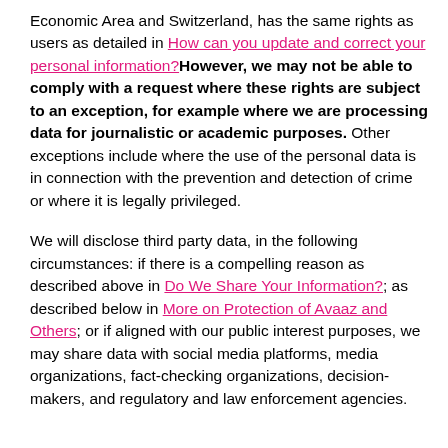Economic Area and Switzerland, has the same rights as users as detailed in How can you update and correct your personal information? However, we may not be able to comply with a request where these rights are subject to an exception, for example where we are processing data for journalistic or academic purposes. Other exceptions include where the use of the personal data is in connection with the prevention and detection of crime or where it is legally privileged.
We will disclose third party data, in the following circumstances: if there is a compelling reason as described above in Do We Share Your Information?; as described below in More on Protection of Avaaz and Others; or if aligned with our public interest purposes, we may share data with social media platforms, media organizations, fact-checking organizations, decision-makers, and regulatory and law enforcement agencies.